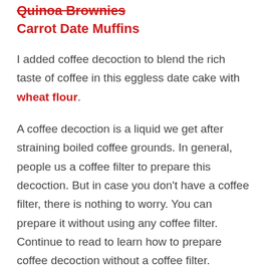Quinoa Brownies
Carrot Date Muffins
I added coffee decoction to blend the rich taste of coffee in this eggless date cake with wheat flour.
A coffee decoction is a liquid we get after straining boiled coffee grounds. In general, people us a coffee filter to prepare this decoction. But in case you don't have a coffee filter, there is nothing to worry. You can prepare it without using any coffee filter. Continue to read to learn how to prepare coffee decoction without a coffee filter.
I have curated the list of recommended tools and ingredients for baking. I recommend only tried and